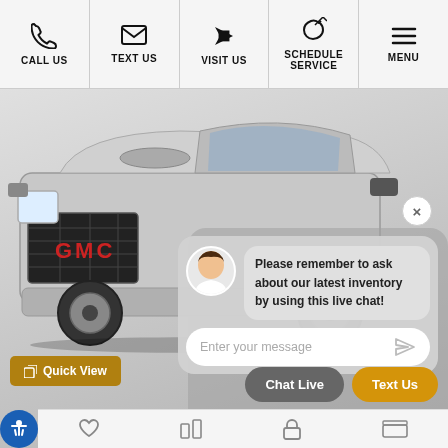CALL US | TEXT US | VISIT US | SCHEDULE SERVICE | MENU
[Figure (screenshot): GMC Sierra pickup truck front view with live chat overlay widget. Chat bubble reads: 'Please remember to ask about our latest inventory by using this live chat!' with avatar of a woman. Input field says 'Enter your message'. Buttons: Chat Live (gray) and Text Us (gold). Quick View button bottom left. Accessibility button bottom left corner.]